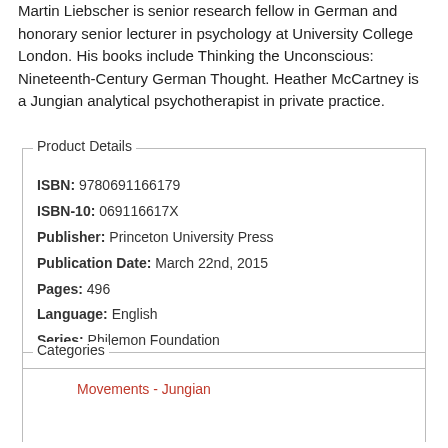Martin Liebscher is senior research fellow in German and honorary senior lecturer in psychology at University College London. His books include Thinking the Unconscious: Nineteenth-Century German Thought. Heather McCartney is a Jungian analytical psychotherapist in private practice.
Product Details
ISBN: 9780691166179
ISBN-10: 069116617X
Publisher: Princeton University Press
Publication Date: March 22nd, 2015
Pages: 496
Language: English
Series: Philemon Foundation
Categories
Movements - Jungian